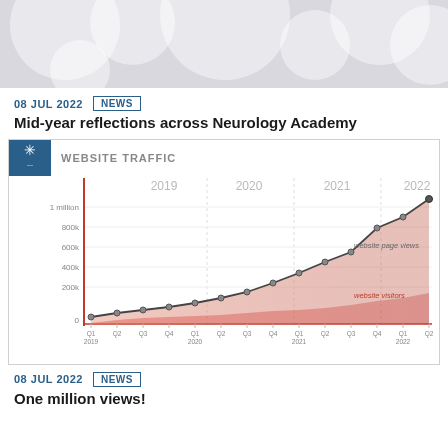[Figure (illustration): Light gray decorative header banner with overlapping bubble/circle shapes in white/light gray]
08 JUL 2022  NEWS
Mid-year reflections across Neurology Academy
[Figure (area-chart): WEBSITE TRAFFIC]
08 JUL 2022  NEWS
One million views!